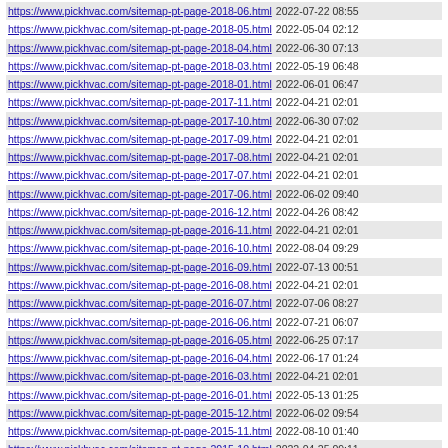https://www.pickhvac.com/sitemap-pt-page-2018-06.html 2022-07-22 08:55
https://www.pickhvac.com/sitemap-pt-page-2018-05.html 2022-05-04 02:12
https://www.pickhvac.com/sitemap-pt-page-2018-04.html 2022-06-30 07:13
https://www.pickhvac.com/sitemap-pt-page-2018-03.html 2022-05-19 06:48
https://www.pickhvac.com/sitemap-pt-page-2018-01.html 2022-06-01 06:47
https://www.pickhvac.com/sitemap-pt-page-2017-11.html 2022-04-21 02:01
https://www.pickhvac.com/sitemap-pt-page-2017-10.html 2022-06-30 07:02
https://www.pickhvac.com/sitemap-pt-page-2017-09.html 2022-04-21 02:01
https://www.pickhvac.com/sitemap-pt-page-2017-08.html 2022-04-21 02:01
https://www.pickhvac.com/sitemap-pt-page-2017-07.html 2022-04-21 02:01
https://www.pickhvac.com/sitemap-pt-page-2017-06.html 2022-06-02 09:40
https://www.pickhvac.com/sitemap-pt-page-2016-12.html 2022-04-26 08:42
https://www.pickhvac.com/sitemap-pt-page-2016-11.html 2022-04-21 02:01
https://www.pickhvac.com/sitemap-pt-page-2016-10.html 2022-08-04 09:29
https://www.pickhvac.com/sitemap-pt-page-2016-09.html 2022-07-13 00:51
https://www.pickhvac.com/sitemap-pt-page-2016-08.html 2022-04-21 02:01
https://www.pickhvac.com/sitemap-pt-page-2016-07.html 2022-07-06 08:27
https://www.pickhvac.com/sitemap-pt-page-2016-06.html 2022-07-21 06:07
https://www.pickhvac.com/sitemap-pt-page-2016-05.html 2022-06-25 07:17
https://www.pickhvac.com/sitemap-pt-page-2016-04.html 2022-06-17 01:24
https://www.pickhvac.com/sitemap-pt-page-2016-03.html 2022-04-21 02:01
https://www.pickhvac.com/sitemap-pt-page-2016-01.html 2022-05-13 01:25
https://www.pickhvac.com/sitemap-pt-page-2015-12.html 2022-06-02 09:54
https://www.pickhvac.com/sitemap-pt-page-2015-11.html 2022-08-10 01:40
https://www.pickhvac.com/sitemap-pt-page-2015-10.html 2022-04-25 09:11
Generated with Google (XML) Sitemaps Generator Plugin for WordPress by Auctollo. This XSLT template is released under the GPL and free to use. If you have problems with your sitemap please visit the support forum.